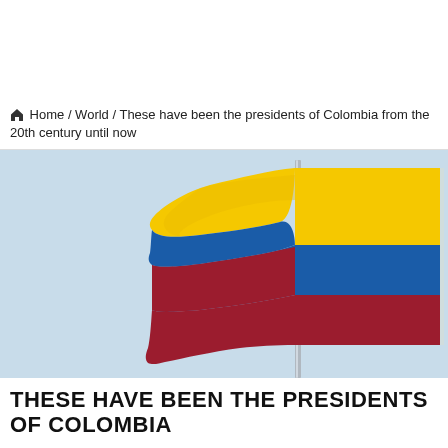Home / World / These have been the presidents of Colombia from the 20th century until now
[Figure (photo): Colombian flag waving on a pole against a light blue sky. The flag has three horizontal bands: yellow (top, widest), blue (middle), and red (bottom).]
THESE HAVE BEEN THE PRESIDENTS OF COLOMBIA